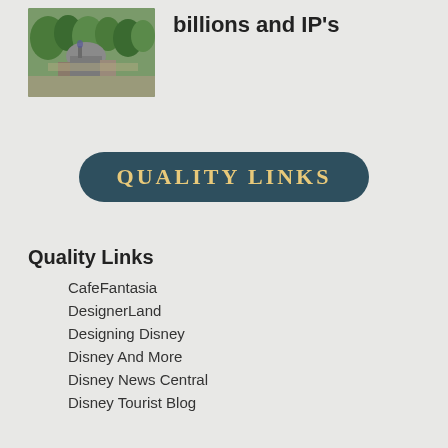[Figure (photo): Aerial view of a Disney theme park with trees and buildings including a dome structure]
billions and IP's
[Figure (logo): Dark teal rounded rectangle badge with 'QUALITY LINKS' text in gold serif letters]
Quality Links
CafeFantasia
DesignerLand
Designing Disney
Disney And More
Disney News Central
Disney Tourist Blog